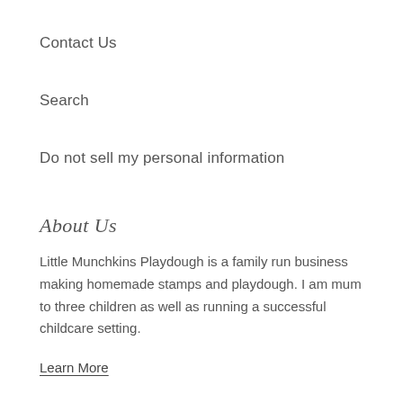Contact Us
Search
Do not sell my personal information
About Us
Little Munchkins Playdough is a family run business making homemade stamps and playdough. I am mum to three children as well as running a successful childcare setting.
Learn More